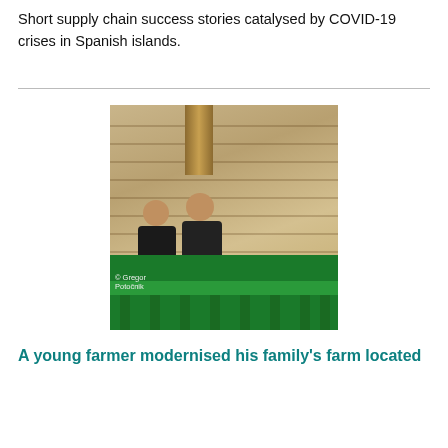Short supply chain success stories catalysed by COVID-19 crises in Spanish islands.
[Figure (photo): Two people in dark clothing standing behind a green industrial machine/conveyor in a wooden barn. Photo credit: © Gregor Potočnik]
A young farmer modernised his family's farm located